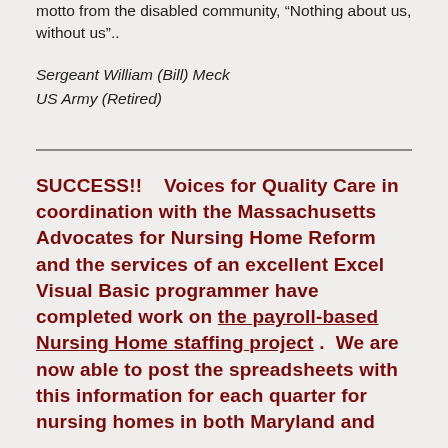motto from the disabled community, "Nothing about us, without us"..
Sergeant William (Bill) Meck
US Army (Retired)
SUCCESS!!   Voices for Quality Care in coordination with the Massachusetts Advocates for Nursing Home Reform and the services of an excellent Excel Visual Basic programmer have completed work on the payroll-based Nursing Home staffing project .  We are now able to post the spreadsheets with this information for each quarter for nursing homes in both Maryland and